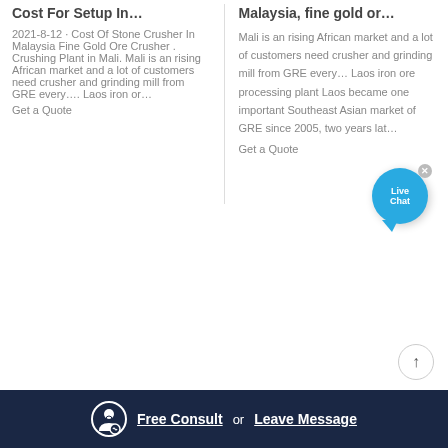Cost For Setup In…
2021-8-12 · Cost Of Stone Crusher In Malaysia Fine Gold Ore Crusher . Crushing Plant in Mali. Mali is an rising African market and a lot of customers need crusher and grinding mill from GRE every…. Laos iron or…
Get a Quote
Malaysia, fine gold or…
Mali is an rising African market and a lot of customers need crusher and grinding mill from GRE every… Laos iron ore processing plant Laos became one important Southeast Asian market of GRE since 2005, two years lat…
Get a Quote
[Figure (illustration): Live Chat button with blue circular icon and close X button]
[Figure (illustration): Scroll-to-top circular button with upward arrow]
Free Consult  or  Leave Message